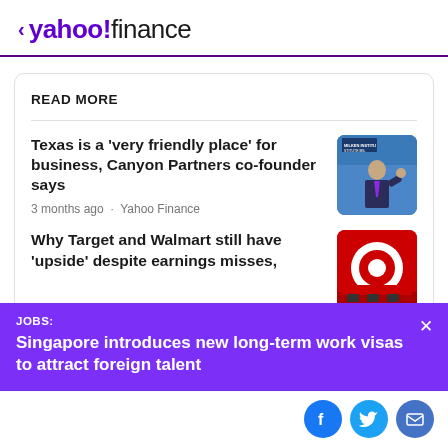< yahoo!finance
READ MORE
Texas is a 'very friendly place' for business, Canyon Partners co-founder says
3 months ago · Yahoo Finance
Why Target and Walmart still have 'upside' despite earnings misses, according to Ba...
JOBS:
Singapore introduces new long-term work visas to attract foreign talent